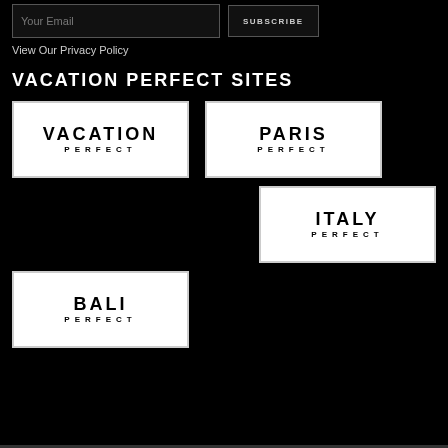Your Email
SUBSCRIBE
View Our Privacy Policy
VACATION PERFECT SITES
[Figure (logo): VACATION PERFECT logo - white box with black text]
[Figure (logo): PARIS PERFECT logo - white box with black text]
[Figure (logo): ITALY PERFECT logo - white box with black text]
[Figure (logo): BALI PERFECT logo - white box with black text]